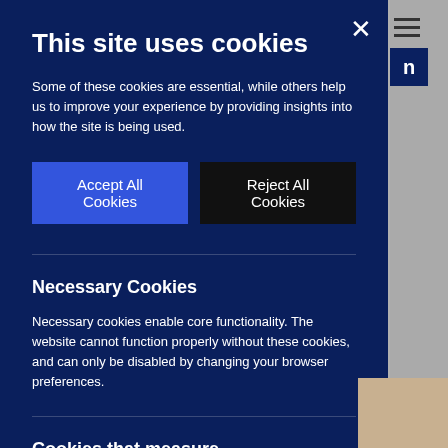This site uses cookies
Some of these cookies are essential, while others help us to improve your experience by providing insights into how the site is being used.
Accept All Cookies
Reject All Cookies
Necessary Cookies
Necessary cookies enable core functionality. The website cannot function properly without these cookies, and can only be disabled by changing your browser preferences.
Cookies that measure website
Off
oogle Analytics to measure how you use the website so